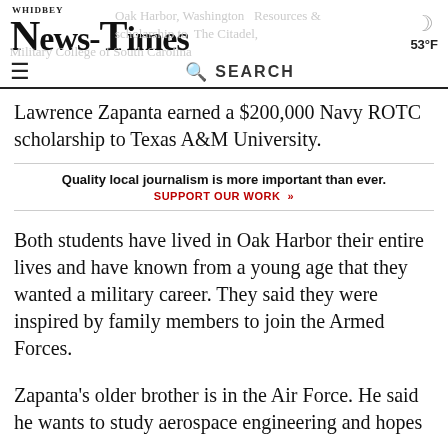Whidbey News-Times | 53°F
Lawrence Zapanta earned a $200,000 Navy ROTC scholarship to Texas A&M University.
Quality local journalism is more important than ever. SUPPORT OUR WORK »
Both students have lived in Oak Harbor their entire lives and have known from a young age that they wanted a military career. They said they were inspired by family members to join the Armed Forces.
Zapanta's older brother is in the Air Force. He said he wants to study aerospace engineering and hopes